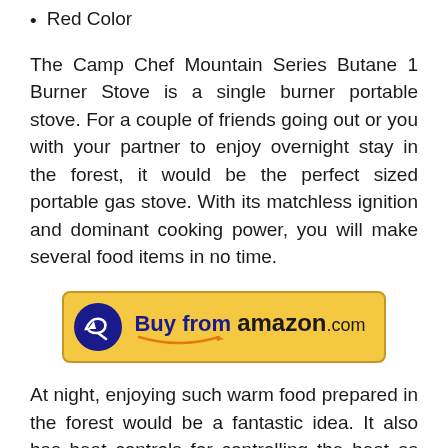Red Color
The Camp Chef Mountain Series Butane 1 Burner Stove is a single burner portable stove. For a couple of friends going out or you with your partner to enjoy overnight stay in the forest, it would be the perfect sized portable gas stove. With its matchless ignition and dominant cooking power, you will make several food items in no time.
[Figure (other): Buy from amazon.com button with Amazon logo arrow icon on yellow background with blue border]
At night, enjoying such warm food prepared in the forest would be a fantastic idea. It also has heat controls for controlling the heat as per your cooking heat requirements. With bright